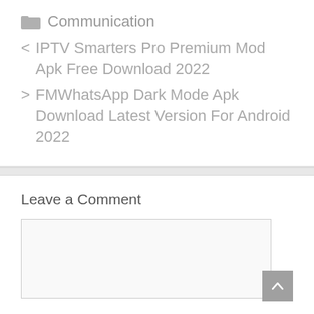Communication
< IPTV Smarters Pro Premium Mod Apk Free Download 2022
> FMWhatsApp Dark Mode Apk Download Latest Version For Android 2022
Leave a Comment
[Figure (other): Comment text area input box]